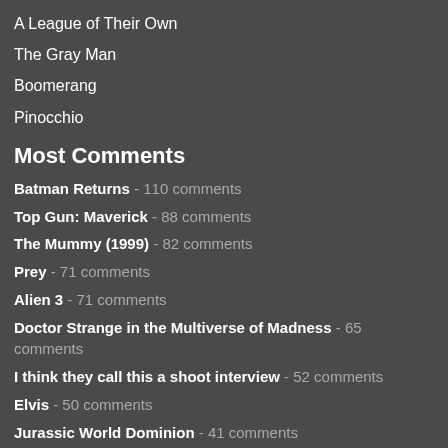A League of Their Own
The Gray Man
Boomerang
Pinocchio
Most Comments
Batman Returns - 110 comments
Top Gun: Maverick - 88 comments
The Mummy (1999) - 82 comments
Prey - 71 comments
Alien 3 - 71 comments
Doctor Strange in the Multiverse of Madness - 65 comments
I think they call this a shoot interview - 52 comments
Elvis - 50 comments
Jurassic World Dominion - 41 comments
Prelude: 1992 - Weird Summer (featuring Check Your Head) - 37 comments
Tweets from @outlawvern
VERN (𝗦𝗛𝗘 𝗢𝗕𝗘𝗬𝗦𝗛𝗘𝗥) @outlawvern · 18m
Replying to @outlawvern
What an unlikely and wonderful career, to start as a model kicking Jean-Claude Van Damme in a